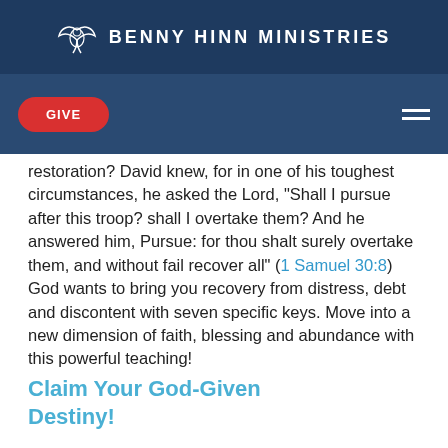BENNY HINN MINISTRIES
GIVE
restoration? David knew, for in one of his toughest circumstances, he asked the Lord, "Shall I pursue after this troop? shall I overtake them? And he answered him, Pursue: for thou shalt surely overtake them, and without fail recover all" (1 Samuel 30:8) God wants to bring you recovery from distress, debt and discontent with seven specific keys. Move into a new dimension of faith, blessing and abundance with this powerful teaching!
Claim Your God-Given Destiny!